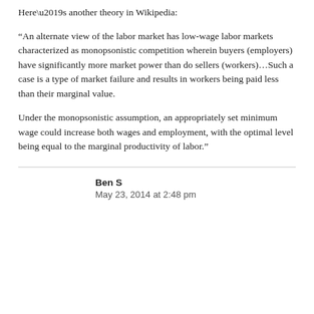Here’s another theory in Wikipedia:
“An alternate view of the labor market has low-wage labor markets characterized as monopsonistic competition wherein buyers (employers) have significantly more market power than do sellers (workers)…Such a case is a type of market failure and results in workers being paid less than their marginal value.
Under the monopsonistic assumption, an appropriately set minimum wage could increase both wages and employment, with the optimal level being equal to the marginal productivity of labor.”
Ben S
May 23, 2014 at 2:48 pm